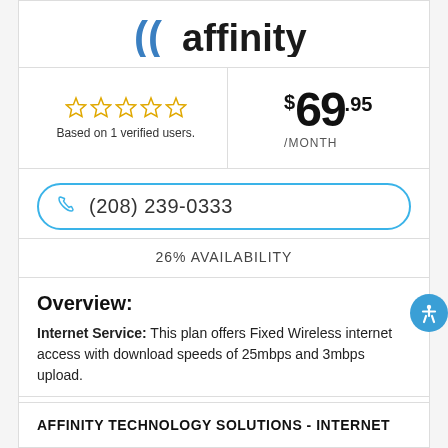[Figure (logo): Affinity logo with stylized parentheses/signal waves in blue and dark text]
Based on 1 verified users.
$69.95 /MONTH
(208) 239-0333
26% AVAILABILITY
Overview:
Internet Service: This plan offers Fixed Wireless internet access with download speeds of 25mbps and 3mbps upload.
Save
Hide
AFFINITY TECHNOLOGY SOLUTIONS - INTERNET